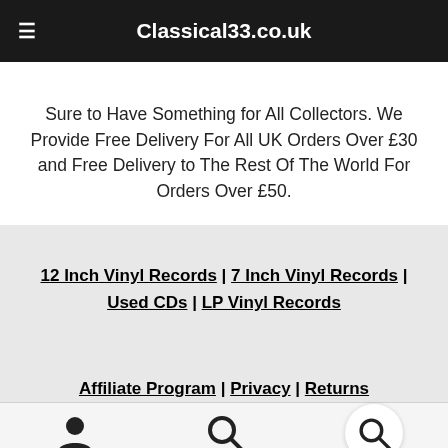Classical33.co.uk
Sure to Have Something for All Collectors. We Provide Free Delivery For All UK Orders Over £30 and Free Delivery to The Rest Of The World For Orders Over £50.
12 Inch Vinyl Records | 7 Inch Vinyl Records | Used CDs | LP Vinyl Records
Affiliate Program | Privacy | Returns